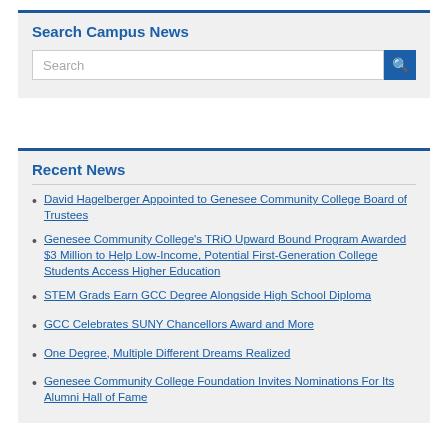Search Campus News
Search
Recent News
David Hagelberger Appointed to Genesee Community College Board of Trustees
Genesee Community College's TRiO Upward Bound Program Awarded $3 Million to Help Low-Income, Potential First-Generation College Students Access Higher Education
STEM Grads Earn GCC Degree Alongside High School Diploma
GCC Celebrates SUNY Chancellors Award and More
One Degree, Multiple Different Dreams Realized
Genesee Community College Foundation Invites Nominations For Its Alumni Hall of Fame